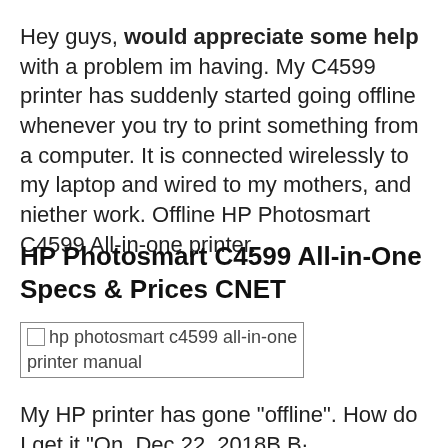Hey guys, would appreciate some help with a problem im having. My C4599 printer has suddenly started going offline whenever you try to print something from a computer. It is connected wirelessly to my laptop and wired to my mothers, and niether work. Offline HP Photosmart C4599 All-in-one printer.
HP Photosmart C4599 All-in-One Specs & Prices CNET
[Figure (other): Broken/missing image placeholder for hp photosmart c4599 all-in-one printer manual]
My HP printer has gone "offline". How do I get it "On. Dec 22, 2018B B·